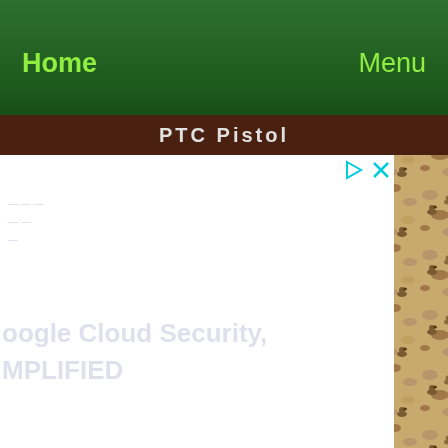Home    Menu
PTC Pistol
[Figure (screenshot): Mobile app screenshot showing a navigation bar with green background, Home and Menu buttons in lime green, a brown title bar with 'PTC Pistol' in white, a camouflage desert pattern background with repeating small animal/duck figures, and a large white advertisement panel overlay with close and play controls in cyan, with faint watermark text reading 'oogle Cloud Security, MPLIFIED']